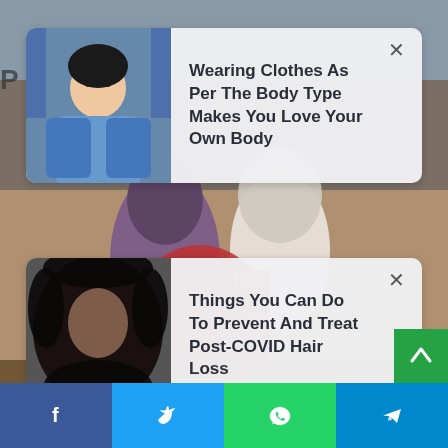[Figure (photo): Background showing people working outdoors on sandy/muddy terrain, with checkered red fabric and white shirts visible]
[Figure (screenshot): Notification card 1: thumbnail of woman in blue jacket, text 'Wearing Clothes As Per The Body Type Makes You Love Your Own Body' with close X button]
Wearing Clothes As Per The Body Type Makes You Love Your Own Body
[Figure (screenshot): Notification card 2: thumbnail of person with hair loss, text 'Things You Can Do To Prevent And Treat Post-COVID Hair Loss' with close X button]
Things You Can Do To Prevent And Treat Post-COVID Hair Loss
[Figure (infographic): Share bar at bottom with Facebook, Twitter, WhatsApp, and Telegram buttons]